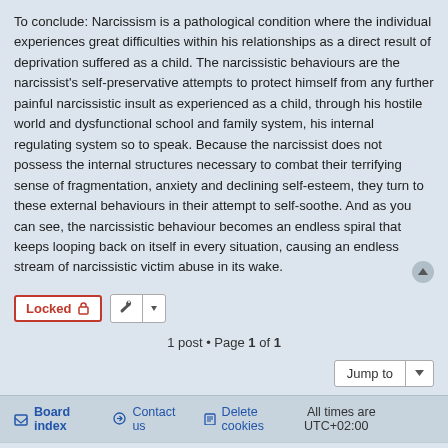To conclude: Narcissism is a pathological condition where the individual experiences great difficulties within his relationships as a direct result of deprivation suffered as a child. The narcissistic behaviours are the narcissist's self-preservative attempts to protect himself from any further painful narcissistic insult as experienced as a child, through his hostile world and dysfunctional school and family system, his internal regulating system so to speak. Because the narcissist does not possess the internal structures necessary to combat their terrifying sense of fragmentation, anxiety and declining self-esteem, they turn to these external behaviours in their attempt to self-soothe. And as you can see, the narcissistic behaviour becomes an endless spiral that keeps looping back on itself in every situation, causing an endless stream of narcissistic victim abuse in its wake.
Locked | [tools] | 1 post • Page 1 of 1
Jump to
Board index | Contact us | Delete cookies | All times are UTC+02:00
Powered by phpBB® Forum Software © phpBB Limited | Privacy | Terms